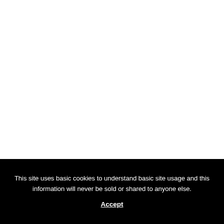This site uses basic cookies to understand basic site usage and this information will never be sold or shared to anyone else.
Accept